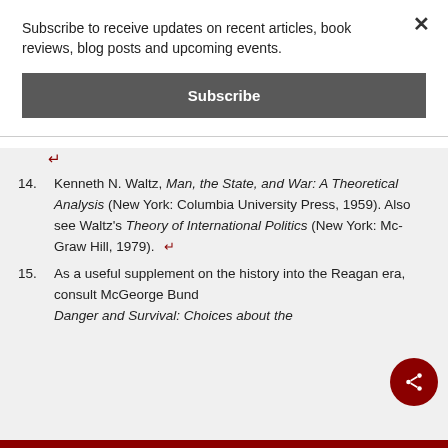Subscribe to receive updates on recent articles, book reviews, blog posts and upcoming events.
Subscribe
14. Kenneth N. Waltz, Man, the State, and War: A Theoretical Analysis (New York: Columbia University Press, 1959). Also see Waltz's Theory of International Politics (New York: Mc-Graw Hill, 1979).
15. As a useful supplement on the history into the Reagan era, consult McGeorge Bundy, Danger and Survival: Choices about the